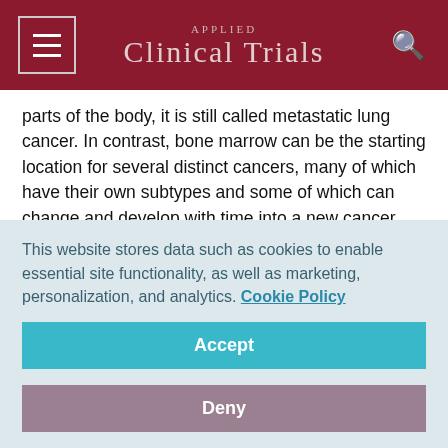Applied Clinical Trials
parts of the body, it is still called metastatic lung cancer. In contrast, bone marrow can be the starting location for several distinct cancers, many of which have their own subtypes and some of which can change and develop with time into a new cancer.
Other classification systems define leukemia by the speed at which it develops, either chronic (slow) or acute (more quickly), as well as by the type of white blood cell affected,
This website stores data such as cookies to enable essential site functionality, as well as marketing, personalization, and analytics. Cookie Policy
Accept
Deny